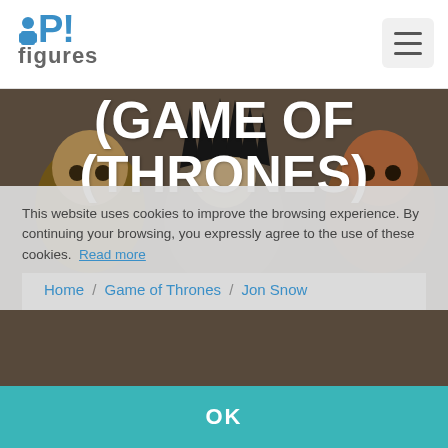POP! figures
[Figure (photo): Background photo of Funko Pop figures including Game of Thrones characters with a figure wearing an Iron Throne crown in the center, flanked by other Funko Pop figures]
POP JON SNOW (GAME OF (THRONES)
This website uses cookies to improve the browsing experience. By continuing your browsing, you expressly agree to the use of these cookies.  Read more
Home / Game of Thrones / Jon Snow
OK